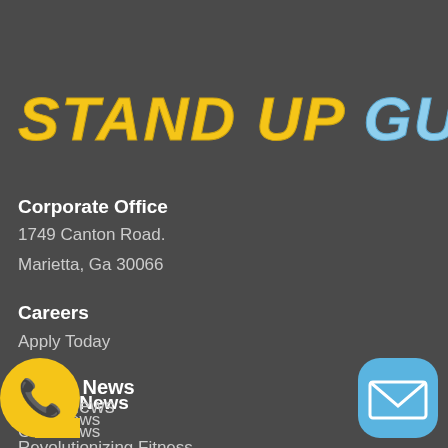STAND UP GUYS
Corporate Office
1749 Canton Road.
Marietta, Ga 30066
Careers
Apply Today
In The News
CBS News
Revolutionizing Fitness
ing With Realtors
vices
[Figure (illustration): Yellow phone call button (bottom left) and blue mail button (bottom right)]